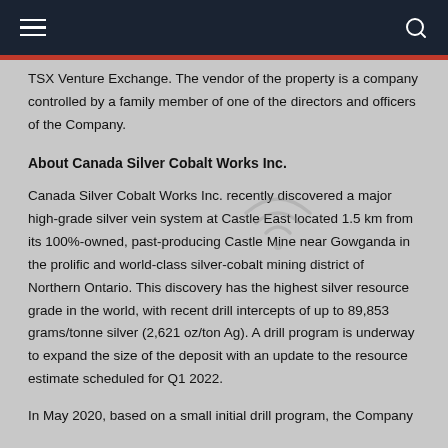TSX Venture Exchange. The vendor of the property is a company controlled by a family member of one of the directors and officers of the Company.
About Canada Silver Cobalt Works Inc.
Canada Silver Cobalt Works Inc. recently discovered a major high-grade silver vein system at Castle East located 1.5 km from its 100%-owned, past-producing Castle Mine near Gowganda in the prolific and world-class silver-cobalt mining district of Northern Ontario. This discovery has the highest silver resource grade in the world, with recent drill intercepts of up to 89,853 grams/tonne silver (2,621 oz/ton Ag). A drill program is underway to expand the size of the deposit with an update to the resource estimate scheduled for Q1 2022.
In May 2020, based on a small initial drill program, the Company